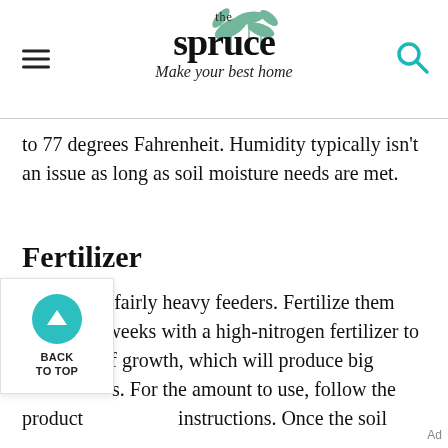the spruce — Make your best home
to 77 degrees Fahrenheit. Humidity typically isn't an issue as long as soil moisture needs are met.
Fertilizer
Onions are fairly heavy feeders. Fertilize them every few weeks with a high-nitrogen fertilizer to support leaf growth, which will produce big bulbs. For the amount to use, follow the product instructions. Once the soil begins to crack around where the bulb is forming, the foliage growing cycle is complete and no further